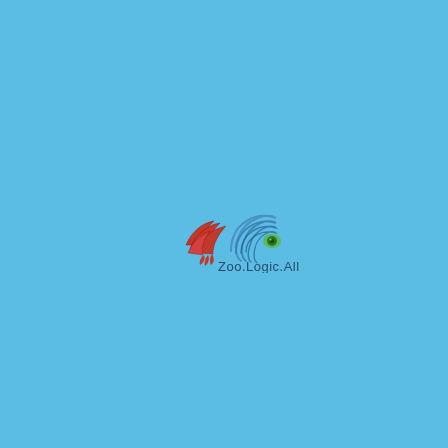[Figure (logo): Zoo.Logic.All logo featuring a red bird wing on the left and blue concentric swirl arcs with a green eye symbol on the right, above the text 'Zoo.Logic.All' in dark blue]